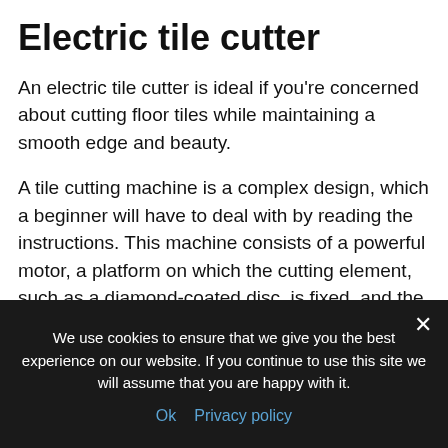Electric tile cutter
An electric tile cutter is ideal if you're concerned about cutting floor tiles while maintaining a smooth edge and beauty.
A tile cutting machine is a complex design, which a beginner will have to deal with by reading the instructions. This machine consists of a powerful motor, a platform on which the cutting element, such as a diamond-coated disc, is fixed, and the machine also has a reservoir for water.
Electric tile cutter models vary, so some models have the bottom of the disc immersed in water, while other
We use cookies to ensure that we give you the best experience on our website. If you continue to use this site we will assume that you are happy with it.
Ok   Privacy policy